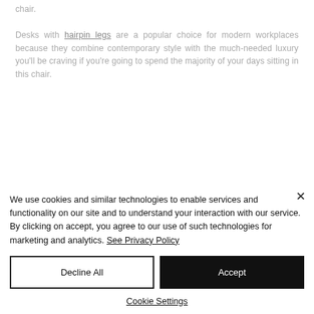chair.

Desks with hairpin legs are a popular choice for modern workplaces because they combine contemporary style with the much-needed luxury you'll be craving if you're going to spend the majority of your days sitting in this chair.
We use cookies and similar technologies to enable services and functionality on our site and to understand your interaction with our service. By clicking on accept, you agree to our use of such technologies for marketing and analytics. See Privacy Policy